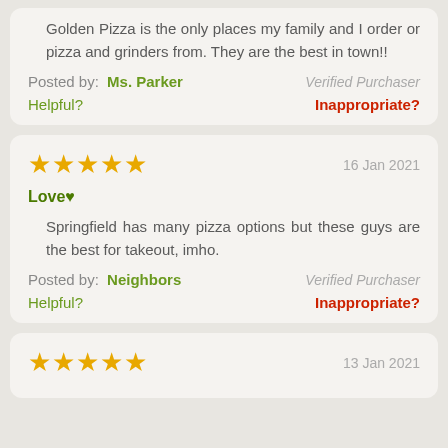Golden Pizza is the only places my family and I order or pizza and grinders from. They are the best in town!!
Posted by: Ms. Parker   Verified Purchaser
Helpful?   Inappropriate?
★★★★★   16 Jan 2021
Love♥
Springfield has many pizza options but these guys are the best for takeout, imho.
Posted by: Neighbors   Verified Purchaser
Helpful?   Inappropriate?
★★★★★   13 Jan 2021